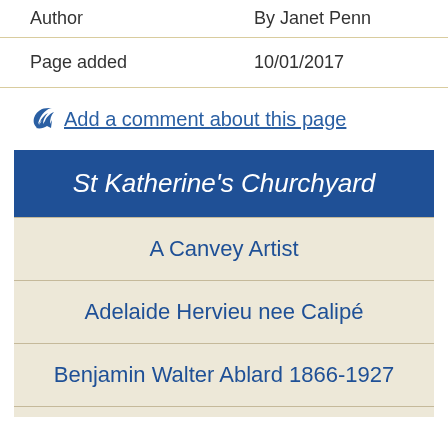| Author | By Janet Penn |
| --- | --- |
| Page added | 10/01/2017 |
Add a comment about this page
St Katherine's Churchyard
A Canvey Artist
Adelaide Hervieu nee Calipé
Benjamin Walter Ablard 1866-1927